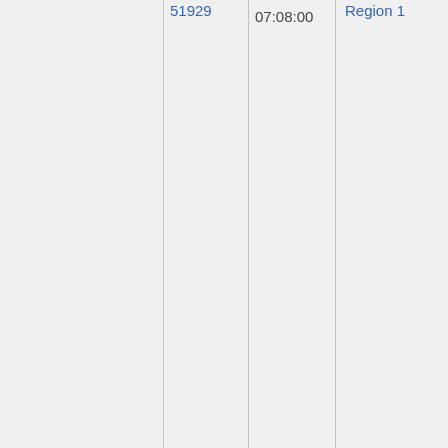|  | 51929 | 07:08:00 |  | Region 1 |
| --- | --- | --- | --- | --- |
|  |  |  |  |  |